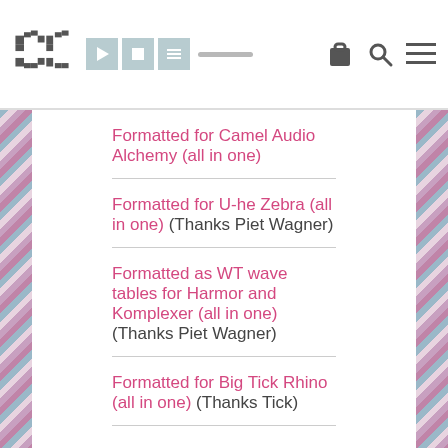Site navigation bar with logo and icons
Formatted for Camel Audio Alchemy (all in one)
Formatted for U-he Zebra (all in one) (Thanks Piet Wagner)
Formatted as WT wave tables for Harmor and Komplexer (all in one) (Thanks Piet Wagner)
Formatted for Big Tick Rhino (all in one) (Thanks Tick)